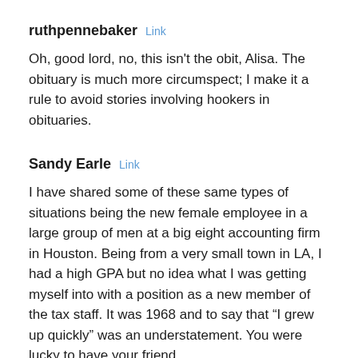ruthpennebaker  Link
Oh, good lord, no, this isn't the obit, Alisa. The obituary is much more circumspect; I make it a rule to avoid stories involving hookers in obituaries.
Sandy Earle  Link
I have shared some of these same types of situations being the new female employee in a large group of men at a big eight accounting firm in Houston. Being from a very small town in LA, I had a high GPA but no idea what I was getting myself into with a position as a new member of the tax staff. It was 1968 and to say that “I grew up quickly” was an understatement. You were lucky to have your friend.